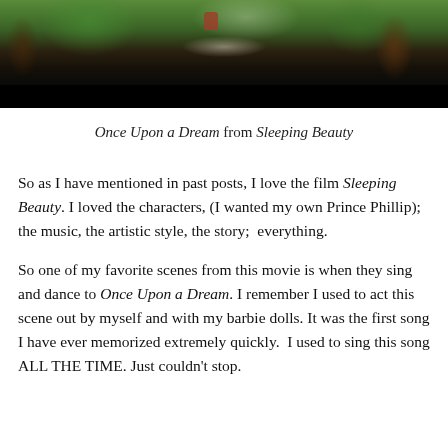[Figure (photo): Screenshot from Sleeping Beauty animated film showing a forest scene with characters, with a black bar at the bottom]
Once Upon a Dream from Sleeping Beauty
So as I have mentioned in past posts, I love the film Sleeping Beauty. I loved the characters, (I wanted my own Prince Phillip); the music, the artistic style, the story; everything.
So one of my favorite scenes from this movie is when they sing and dance to Once Upon a Dream. I remember I used to act this scene out by myself and with my barbie dolls. It was the first song I have ever memorized extremely quickly. I used to sing this song ALL THE TIME. Just couldn't stop.